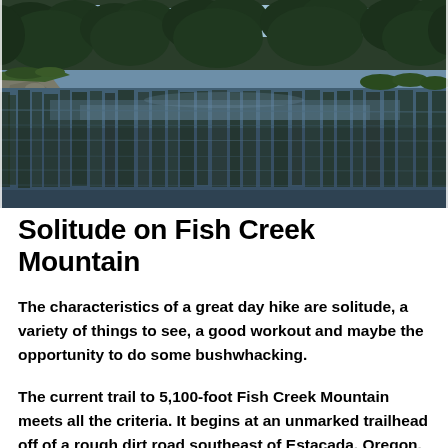[Figure (photo): A serene mountain lake surrounded by tall evergreen trees, with the trees and sky perfectly reflected in the still water. Rocky shoreline visible on the left. A sunny summer day.]
Solitude on Fish Creek Mountain
The characteristics of a great day hike are solitude, a variety of things to see, a good workout and maybe the opportunity to do some bushwhacking.
The current trail to 5,100-foot Fish Creek Mountain meets all the criteria. It begins at an unmarked trailhead off of a rough dirt road southeast of Estacada, Oregon.